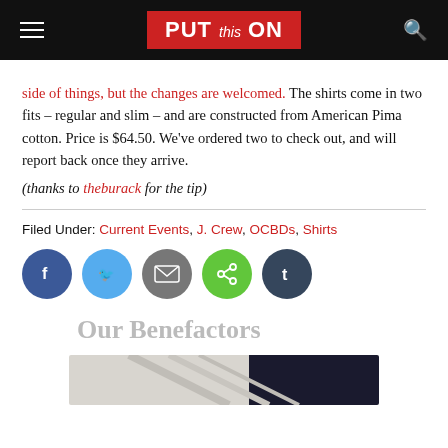PUT this ON
side of things, but the changes are welcomed. The shirts come in two fits – regular and slim – and are constructed from American Pima cotton. Price is $64.50. We've ordered two to check out, and will report back once they arrive.
(thanks to theburack for the tip)
Filed Under: Current Events, J. Crew, OCBDs, Shirts
[Figure (infographic): Social sharing buttons: Facebook (blue), Twitter (light blue), Email (gray), Share (green), Tumblr (dark blue)]
Our Benefactors
[Figure (photo): Partial image of clothing/shirt collar area]